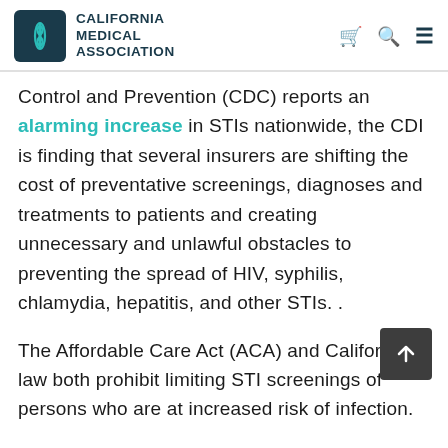CALIFORNIA MEDICAL ASSOCIATION
Control and Prevention (CDC) reports an alarming increase in STIs nationwide, the CDI is finding that several insurers are shifting the cost of preventative screenings, diagnoses and treatments to patients and creating unnecessary and unlawful obstacles to preventing the spread of HIV, syphilis, chlamydia, hepatitis, and other STIs. .
The Affordable Care Act (ACA) and California law both prohibit limiting STI screenings of persons who are at increased risk of infection.
Additionally, California law requires most health insurers to cover screening, diagnostic testing